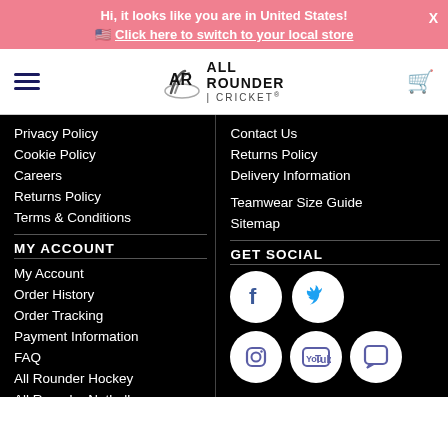Hi, it looks like you are in United States! 🇺🇸 Click here to switch to your local store
[Figure (logo): All Rounder Cricket logo with stylized AR initials and nav bar with hamburger menu and cart icon]
Privacy Policy
Cookie Policy
Careers
Returns Policy
Terms & Conditions
MY ACCOUNT
My Account
Order History
Order Tracking
Payment Information
FAQ
All Rounder Hockey
All Rounder Netball
Contact Us
Returns Policy
Delivery Information
Teamwear Size Guide
Sitemap
GET SOCIAL
[Figure (infographic): Social media icons: Facebook, Twitter, Instagram, YouTube, Chat]